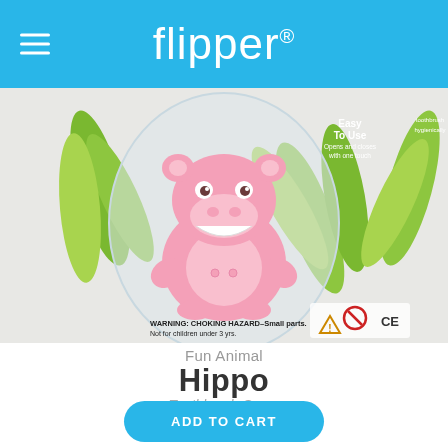Flipper®
[Figure (photo): Pink hippo toothbrush cover product in plastic packaging with green leaf decorations. Packaging shows 'Easy To Use' badge in pink circle, warning label 'WARNING: CHOKING HAZARD - Small parts. Not for children under 3 yrs.' and CE mark.]
Fun Animal
Hippo
Toothbrush Cover
SGD 7.90
ADD TO CART